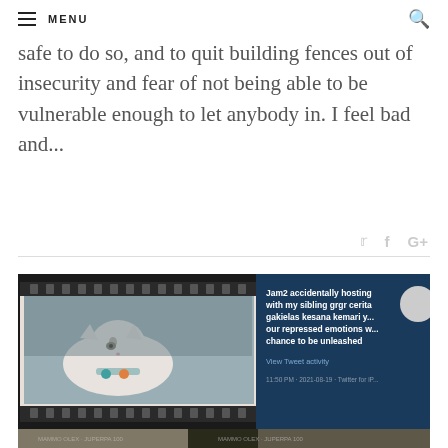MENU
safe to do so, and to quit building fences out of insecurity and fear of not being able to be vulnerable enough to let anybody in. I feel bad and...
[Figure (photo): Composite photo showing film strip with a white cat with colorful collar, overlaid with a tweet screenshot on dark blue background reading 'Jam2 accidentally hosting with my sibling grgr cerita gakielas kesana kemari your repressed emotions will chance to be unleashed' with timestamp 11:50 PM · 2021-08-19 · Twitter for iPhone, and View Tweet activity link visible]